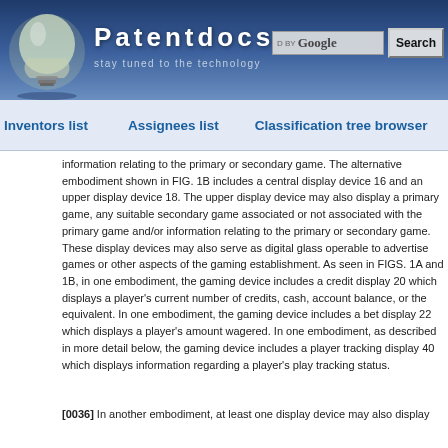Patentdocs — stay tuned to the technology
Inventors list   Assignees list   Classification tree browser
information relating to the primary or secondary game. The alternative embodiment shown in FIG. 1B includes a central display device 16 and an upper display device 18. The upper display device may also display a primary game, any suitable secondary game associated or not associated with the primary game and/or information relating to the primary or secondary game. These display devices may also serve as digital glass operable to advertise games or other aspects of the gaming establishment. As seen in FIGS. 1A and 1B, in one embodiment, the gaming device includes a credit display 20 which displays a player's current number of credits, cash, account balance, or the equivalent. In one embodiment, the gaming device includes a bet display 22 which displays a player's amount wagered. In one embodiment, as described in more detail below, the gaming device includes a player tracking display 40 which displays information regarding a player's play tracking status.
[0036] In another embodiment, at least one display device may also display...